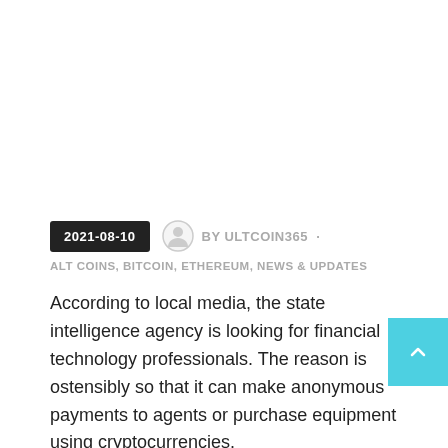2021-08-10  BY ULTCOIN365
ALT COINS, BITCOIN, ETHEREUM, NEWS & UPDATES
According to local media, the state intelligence agency is looking for financial technology professionals. The reason is ostensibly so that it can make anonymous payments to agents or purchase equipment using cryptocurrencies.
On August 8, leading Israeli news outlet Ynet broke the